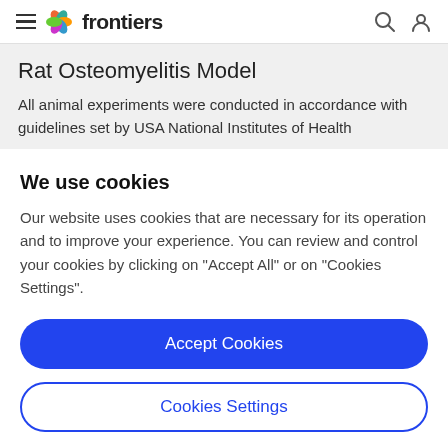frontiers
Rat Osteomyelitis Model
All animal experiments were conducted in accordance with guidelines set by USA National Institutes of Health
We use cookies
Our website uses cookies that are necessary for its operation and to improve your experience. You can review and control your cookies by clicking on "Accept All" or on "Cookies Settings".
Accept Cookies
Cookies Settings